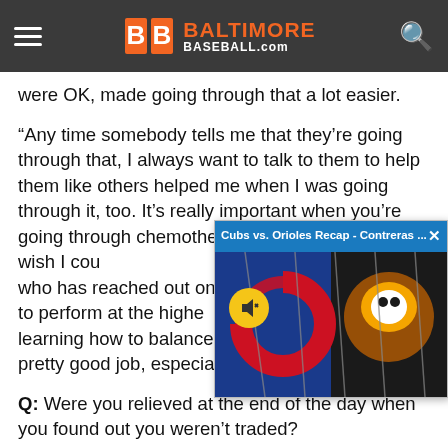BALTIMORE BASEBALL.com
were OK, made going through that a lot easier.
“Any time somebody tells me that they’re going through that, I always want to talk to them to help them like others helped me when I was going through it, too. It’s really important when you’re going through chemotherapy and things like it. I wish I could thank every single person who has reached out on my behalf. Being able to perform at the highest level and at the same time learning how to balance that, I think I did a pretty good job, especially for being young.
[Figure (screenshot): Video popup overlay showing Cubs vs. Orioles Recap - Contreras ... with a thumbnail of Cubs and Orioles logos, and a mute button]
Q: Were you relieved at the end of the day when you found out you weren’t traded?
A: “I was, but at the same time, like I told you guys before, I wasn’t expecting anything to happen for a lot of reasons. It’s